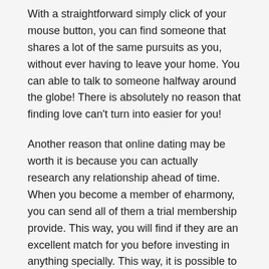With a straightforward simply click of your mouse button, you can find someone that shares a lot of the same pursuits as you, without ever having to leave your home. You can able to talk to someone halfway around the globe! There is absolutely no reason that finding love can't turn into easier for you!
Another reason that online dating may be worth it is because you can actually research any relationship ahead of time. When you become a member of eharmony, you can send all of them a trial membership provide. This way, you will find if they are an excellent match for you before investing in anything specially. This way, it is possible to avoid wasting hard work on a probably sleek prospect.
However the dating sites will save you some priceless time, the main benefit is the fact you will have numerous options than you would definitely usually. If you have ever tried to meet persons in the real world, then you know what a horrid activity this can be. It